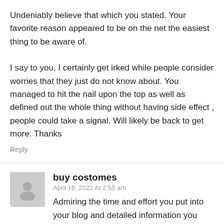Undeniably believe that which you stated. Your favorite reason appeared to be on the net the easiest thing to be aware of.

I say to you, I certainly get irked while people consider worries that they just do not know about. You managed to hit the nail upon the top as well as defined out the whole thing without having side effect , people could take a signal. Will likely be back to get more. Thanks
Reply
buy costomes
April 16, 2022 At 2:55 am
Admiring the time and effort you put into your blog and detailed information you provide. It's great to come across